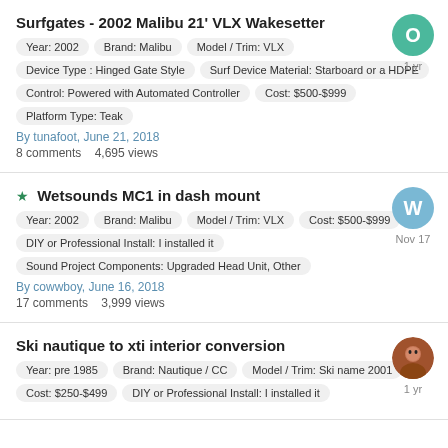Surfgates - 2002 Malibu 21' VLX Wakesetter
Year: 2002 | Brand: Malibu | Model / Trim: VLX | Device Type: Hinged Gate Style | Surf Device Material: Starboard or a HDPE | Control: Powered with Automated Controller | Cost: $500-$999 | Platform Type: Teak
By tunafoot, June 21, 2018
8 comments   4,695 views
Wetsounds MC1 in dash mount
Year: 2002 | Brand: Malibu | Model / Trim: VLX | Cost: $500-$999 | DIY or Professional Install: I installed it | Sound Project Components: Upgraded Head Unit, Other
By cowwboy, June 16, 2018
17 comments   3,999 views
Ski nautique to xti interior conversion
Year: pre 1985 | Brand: Nautique / CC | Model / Trim: Ski name 2001 | Cost: $250-$499 | DIY or Professional Install: I installed it